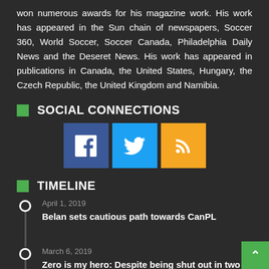won numerous awards for his magazine work. His work has appeared in the Sun chain of newspapers, Soccer 360, World Soccer, Soccer Canada, Philadelphia Daily News and the Deseret News. His work has appeared in publications in Canada, the United States, Hungary, the Czech Republic, the United Kingdom and Namibia.
SOCIAL CONNECTIONS
[Figure (infographic): Three social media icon buttons: Facebook (blue), Twitter (blue), RSS (orange)]
TIMELINE
April 1, 2019 — Belan sets cautious path towards CanPL
March 6, 2019 — Zero is my hero: Despite being shut out in two of three matches, Canada takes third at Algarve Cup